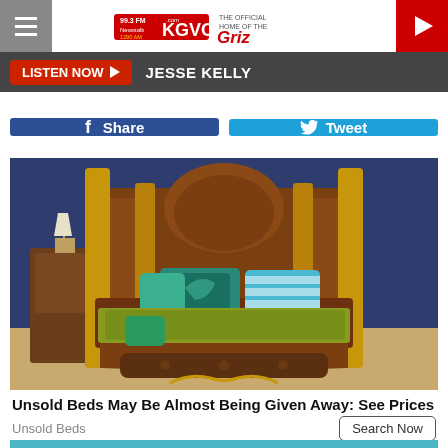KGVO 99.3 FM / 1290 AM — Newstalk — The Official Home of the Griz
LISTEN NOW ▶  JESSE KELLY
f Share   🐦 Tweet
[Figure (photo): Ornate carved wooden four-poster bed with teal and gold pillows and decorative footboard, displayed in a showroom with dark blue walls]
Unsold Beds May Be Almost Being Given Away: See Prices
Unsold Beds
Search Now